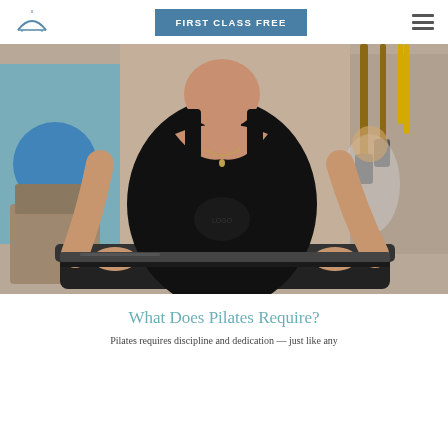FIRST CLASS FREE
[Figure (photo): A woman in a black tank top using a Pilates reformer machine in a fitness studio. She is leaning forward with hands gripping the reformer bar. Gym equipment and other people are visible in the background.]
What Does Pilates Require?
Pilates requires discipline and dedication — just like any